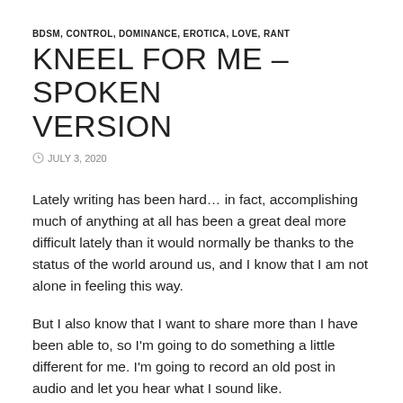BDSM, CONTROL, DOMINANCE, EROTICA, LOVE, RANT
KNEEL FOR ME – SPOKEN VERSION
JULY 3, 2020
Lately writing has been hard… in fact, accomplishing much of anything at all has been a great deal more difficult lately than it would normally be thanks to the status of the world around us, and I know that I am not alone in feeling this way.
But I also know that I want to share more than I have been able to, so I'm going to do something a little different for me. I'm going to record an old post in audio and let you hear what I sound like.